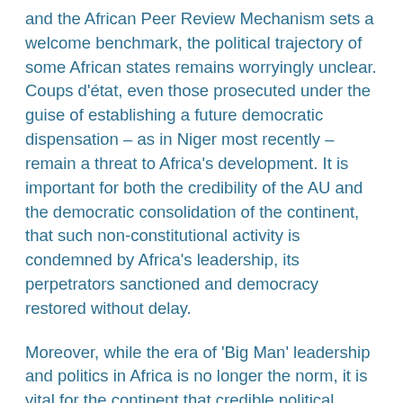and the African Peer Review Mechanism sets a welcome benchmark, the political trajectory of some African states remains worryingly unclear. Coups d'état, even those prosecuted under the guise of establishing a future democratic dispensation – as in Niger most recently – remain a threat to Africa's development. It is important for both the credibility of the AU and the democratic consolidation of the continent, that such non-constitutional activity is condemned by Africa's leadership, its perpetrators sanctioned and democracy restored without delay.
Moreover, while the era of 'Big Man' leadership and politics in Africa is no longer the norm, it is vital for the continent that credible political leadership fills the 'Big Man' vacuum. A cohort of reformist African leaders has in recent years gone quietly into retirement. This generation of African reformers should be replaced by a leadership cohort of democratic consolidators. Africa simply cannot afford further democratic